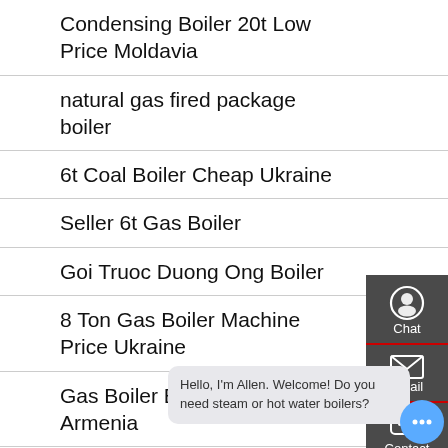Condensing Boiler 20t Low Price Moldavia
natural gas fired package boiler
6t Coal Boiler Cheap Ukraine
Seller 6t Gas Boiler
Goi Truoc Duong Ong Boiler
8 Ton Gas Boiler Machine Price Ukraine
Gas Boiler Brand Agent Price Armenia
Dealer price for boiler banga...
1t Gas Hot Water Boiler For Sale Belarus
Gas G...
Quick links